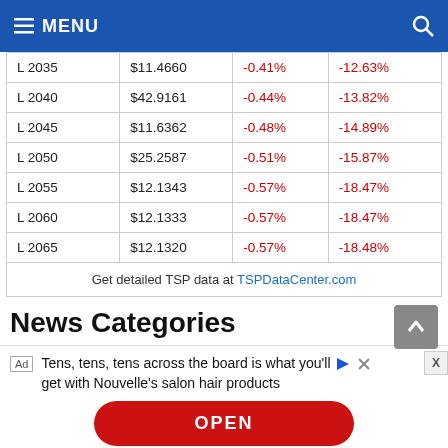MENU
| L 2035 | $11.4660 | -0.41% | -12.63% |
| L 2040 | $42.9161 | -0.44% | -13.82% |
| L 2045 | $11.6362 | -0.48% | -14.89% |
| L 2050 | $25.2587 | -0.51% | -15.87% |
| L 2055 | $12.1343 | -0.57% | -18.47% |
| L 2060 | $12.1333 | -0.57% | -18.47% |
| L 2065 | $12.1320 | -0.57% | -18.48% |
Get detailed TSP data at TSPDataCenter.com
News Categories
Tens, tens, tens across the board is what you'll get with Nouvelle's salon hair products